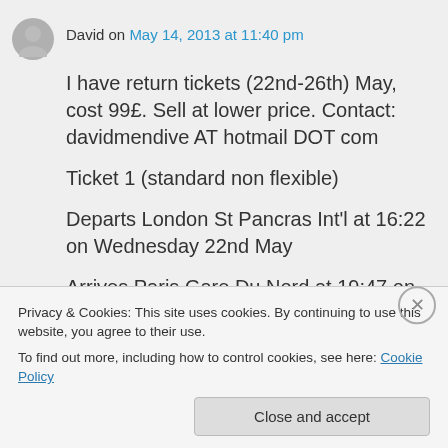David on May 14, 2013 at 11:40 pm
I have return tickets (22nd-26th) May, cost 99£. Sell at lower price. Contact: davidmendive AT hotmail DOT com
Ticket 1 (standard non flexible)
Departs London St Pancras Int'l at 16:22 on Wednesday 22nd May
Arrives Paris Gare Du Nord at 19:47 on Wednesday 22nd May
Privacy & Cookies: This site uses cookies. By continuing to use this website, you agree to their use.
To find out more, including how to control cookies, see here: Cookie Policy